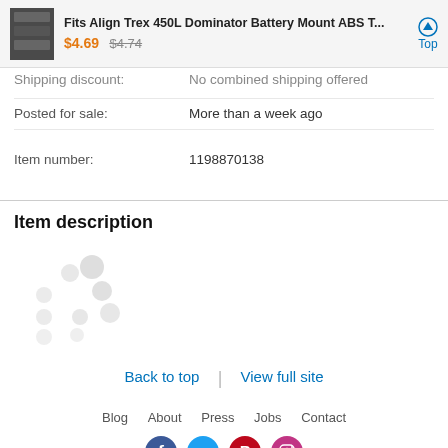Fits Align Trex 450L Dominator Battery Mount ABS T... $4.69 $4.74 Top
Shipping discount: No combined shipping offered
Posted for sale: More than a week ago
Item number: 1198870138
Item description
[Figure (other): Loading spinner animation dots]
Back to top | View full site
Blog   About   Press   Jobs   Contact
[Figure (other): Social media icons: Facebook, Twitter, Pinterest, Instagram]